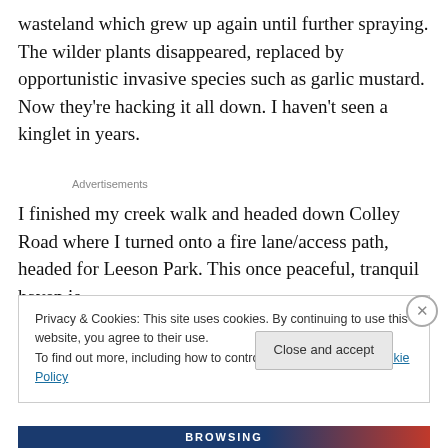wasteland which grew up again until further spraying. The wilder plants disappeared, replaced by opportunistic invasive species such as garlic mustard. Now they're hacking it all down. I haven't seen a kinglet in years.
Advertisements
I finished my creek walk and headed down Colley Road where I turned onto a fire lane/access path, headed for Leeson Park. This once peaceful, tranquil haven is
Privacy & Cookies: This site uses cookies. By continuing to use this website, you agree to their use.
To find out more, including how to control cookies, see here: Cookie Policy
Close and accept